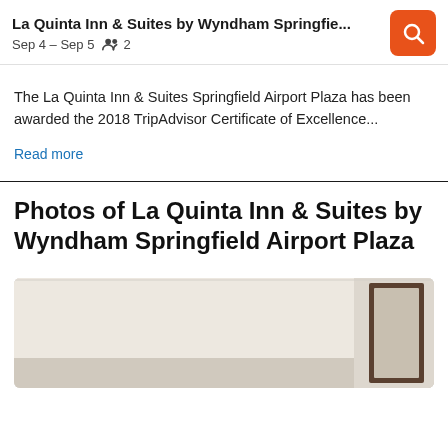La Quinta Inn & Suites by Wyndham Springfie... Sep 4 – Sep 5  2
The La Quinta Inn & Suites Springfield Airport Plaza has been awarded the 2018 TripAdvisor Certificate of Excellence...
Read more
Photos of La Quinta Inn & Suites by Wyndham Springfield Airport Plaza
[Figure (photo): Hotel room interior photo showing a light-colored room with a dark-framed mirror/door]